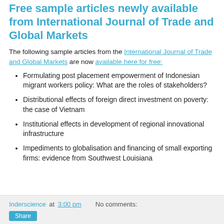Free sample articles newly available from International Journal of Trade and Global Markets
The following sample articles from the International Journal of Trade and Global Markets are now available here for free:
Formulating post placement empowerment of Indonesian migrant workers policy: What are the roles of stakeholders?
Distributional effects of foreign direct investment on poverty: the case of Vietnam
Institutional effects in development of regional innovational infrastructure
Impediments to globalisation and financing of small exporting firms: evidence from Southwest Louisiana
Inderscience at 3:00 pm   No comments: